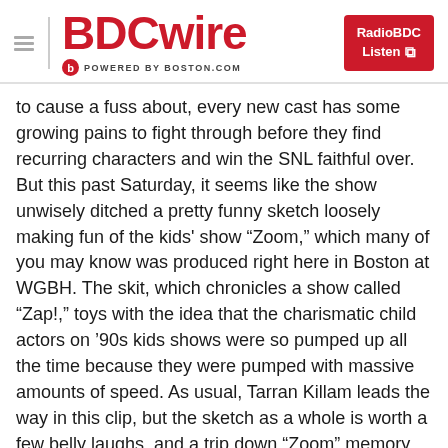BDCwire — POWERED BY BOSTON.COM — RadioBDC Listen
to cause a fuss about, every new cast has some growing pains to fight through before they find recurring characters and win the SNL faithful over. But this past Saturday, it seems like the show unwisely ditched a pretty funny sketch loosely making fun of the kids' show "Zoom," which many of you may know was produced right here in Boston at WGBH. The skit, which chronicles a show called "Zap!," toys with the idea that the charismatic child actors on '90s kids shows were so pumped up all the time because they were pumped with massive amounts of speed. As usual, Tarran Killam leads the way in this clip, but the sketch as a whole is worth a few belly laughs, and a trip down "Zoom" memory lane. More ...